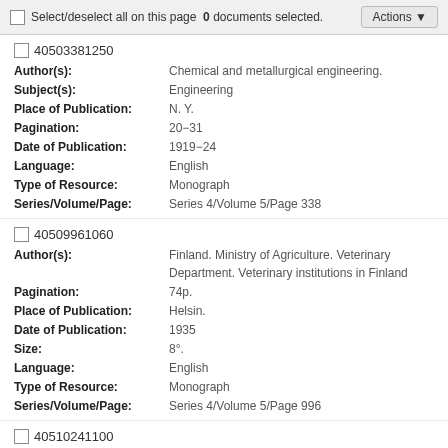Select/deselect all on this page  0 documents selected.  Actions
40503381250 | Author(s): Chemical and metallurgical engineering. | Subject(s): Engineering | Place of Publication: N. Y. | Pagination: 20-31 | Date of Publication: 1919-24 | Language: English | Type of Resource: Monograph | Series/Volume/Page: Series 4/Volume 5/Page 338
40509961060 | Author(s): Finland. Ministry of Agriculture. Veterinary Department. Veterinary institutions in Finland | Pagination: 74p. | Place of Publication: Helsin. | Date of Publication: 1935 | Size: 8°. | Language: English | Type of Resource: Monograph | Series/Volume/Page: Series 4/Volume 5/Page 996
40510241100 | Author(s): Flesch, Max, 1852- | Title: 1870-71 und 1914-18, von der Verwundeten- und Krankenpflege in zwei Kriegen. | Pagination: 296p. illust. | Place of Publication: Frankf. | Publisher: Kern & Birner